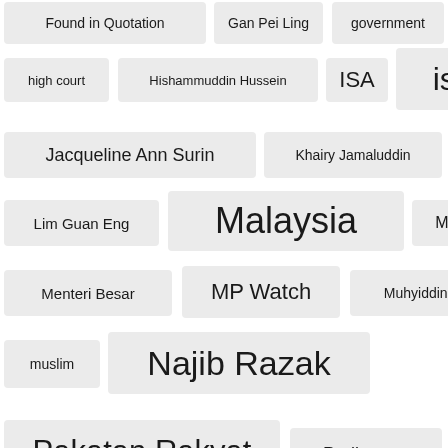[Figure (infographic): Tag cloud / word cloud showing Malaysian political terms and proper nouns with varying font sizes indicating frequency. Tags include: Found in Quotation, Gan Pei Ling, government, high court, Hishammuddin Hussein, ISA, islam, Jacqueline Ann Surin, Khairy Jamaluddin, KW Mak, Lim Guan Eng, Malaysia, MCA, Menteri Besar, MP Watch, Muhyiddin Yassin, muslim, Najib Razak, Pakatan Rakyat, Parliament, Parti Keadilan Rakyat, pas, Penang, Perak, PKR, police, politics, prime minister]